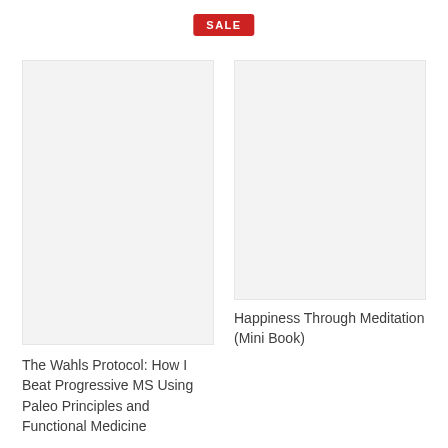SALE
[Figure (photo): Blank light gray book cover placeholder image for 'The Wahls Protocol']
The Wahls Protocol: How I Beat Progressive MS Using Paleo Principles and Functional Medicine
[Figure (photo): Blank light gray book cover placeholder image for 'Happiness Through Meditation (Mini Book)']
Happiness Through Meditation (Mini Book)